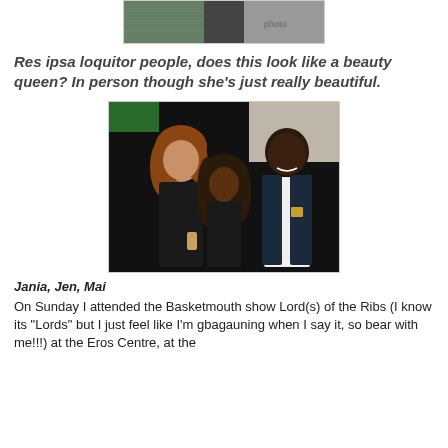[Figure (photo): Partial photo at top of page, appears to be a cropped image with dark and patterned elements]
Res ipsa loquitor people, does this look like a beauty queen? In person though she's just really beautiful.
[Figure (photo): Photo of three people: a woman with auburn hair in a black outfit on the left, a shorter woman with long dark hair in the center, and a tall man in a dark blazer with white shirt on the right, taken at a night event]
Jania, Jen, Mai
On Sunday I attended the Basketmouth show Lord(s) of the Ribs (I know its "Lords" but I just feel like I'm gbagauning when I say it, so bear with me!!!) at the Eros Centre, at the